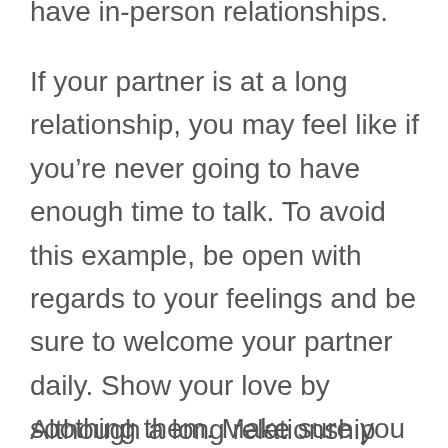have in-person relationships.
If your partner is at a long relationship, you may feel like if you’re never going to have enough time to talk. To avoid this example, be open with regards to your feelings and be sure to welcome your partner daily. Show your love by soothing them. Make sure you send all of them creative interaction, just like audio films or brief videos. These types of creative methods will make your spouse feel special and cherished. In addition to to get relationship with your life, you can try a long-distance date where you can connect with halfway to spend quality time.
Although a long relationship may be tough,